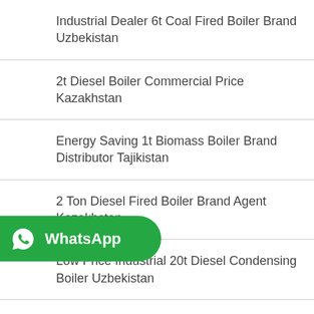Industrial Dealer 6t Coal Fired Boiler Brand Uzbekistan
2t Diesel Boiler Commercial Price Kazakhstan
Energy Saving 1t Biomass Boiler Brand Distributor Tajikistan
2 Ton Diesel Fired Boiler Brand Agent Kazakhstan
Low Price Industrial 20t Diesel Condensing Boiler Uzbekistan
...rcial 10t Biomass Condensing Boiler
[Figure (logo): WhatsApp button with green background, phone icon, and WhatsApp label text]